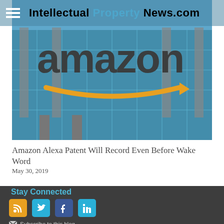Intellectual Property News.com
[Figure (photo): Amazon building exterior with large Amazon logo sign and yellow arrow smile logo against a blue sky, glass windows visible in background]
Amazon Alexa Patent Will Record Even Before Wake Word
May 30, 2019
Stay Connected
[Figure (infographic): Social media icons: RSS (orange), Twitter (blue), Facebook (dark blue), LinkedIn (blue)]
Subscribe to this blog